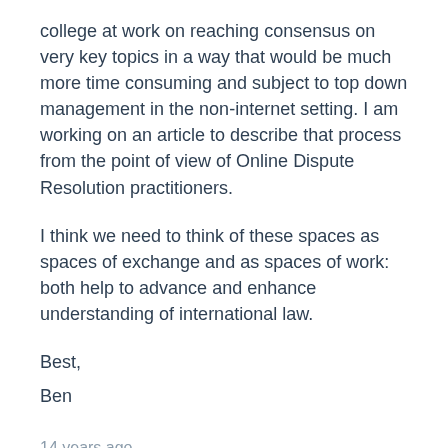college at work on reaching consensus on very key topics in a way that would be much more time consuming and subject to top down management in the non-internet setting. I am working on an article to describe that process from the point of view of Online Dispute Resolution practitioners.
I think we need to think of these spaces as spaces of exchange and as spaces of work: both help to advance and enhance understanding of international law.
Best,
Ben
14 years ago